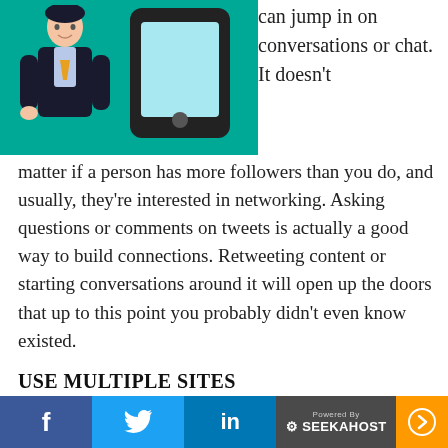[Figure (illustration): Illustration of a person in a suit next to a large smartphone on a teal/green background]
can jump in on conversations or chat. It doesn't matter if a person has more followers than you do, and usually, they're interested in networking. Asking questions or comments on tweets is actually a good way to build connections. Retweeting content or starting conversations around it will open up the doors that up to this point you probably didn't even know existed.
USE MULTIPLE SITES
You should consider reaching out to people on multiple social sites and don't be afraid to engage with them a few times. They may miss your message, so it might take a bit for them to find you.
It also keeps your notifications and...
f  [twitter]  in  Powered By SEEKAHOST  ➤